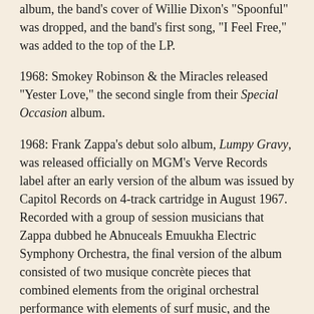album, the band's cover of Willie Dixon's "Spoonful" was dropped, and the band's first song, "I Feel Free," was added to the top of the LP.
1968: Smokey Robinson & the Miracles released "Yester Love," the second single from their Special Occasion album.
1968: Frank Zappa's debut solo album, Lumpy Gravy, was released officially on MGM's Verve Records label after an early version of the album was issued by Capitol Records on 4-track cartridge in August 1967. Recorded with a group of session musicians that Zappa dubbed he Abnuceals Emuukha Electric Symphony Orchestra, the final version of the album consisted of two musique concrète pieces that combined elements from the original orchestral performance with elements of surf music, and the spoken word.
1969: Led Zeppelin became the first major British rock group to appear in Hawaii when they played at The Civic Auditorium in Honolulu.